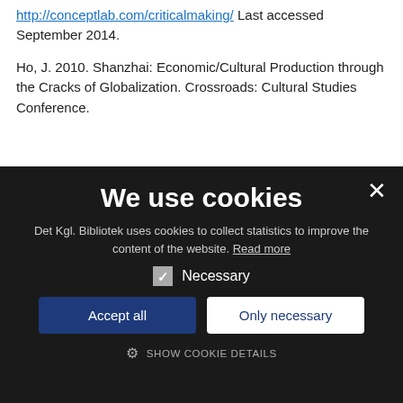http://conceptlab.com/criticalmaking/ Last accessed September 2014.
Ho, J. 2010. Shanzhai: Economic/Cultural Production through the Cracks of Globalization. Crossroads: Cultural Studies Conference.
[Figure (screenshot): Cookie consent modal overlay with dark background. Title 'We use cookies', description text, a checked 'Necessary' checkbox, 'Accept all' and 'Only necessary' buttons, and 'SHOW COOKIE DETAILS' link.]